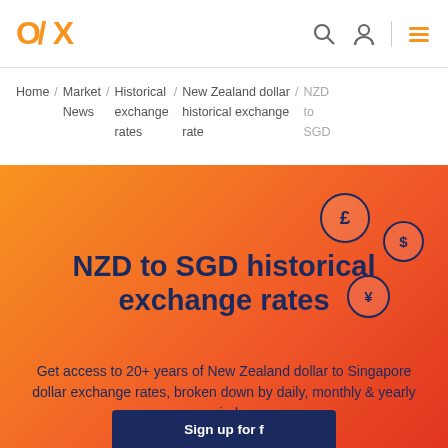OFX logo with navigation icons: search, account, menu
Home / Market News / Historical exchange rates / New Zealand dollar historical exchange rate / NZD to SGD
NZD to SGD historical exchange rates
Get access to 20+ years of New Zealand dollar to Singapore dollar exchange rates, broken down by daily, monthly & yearly periods.
Sign up for f...